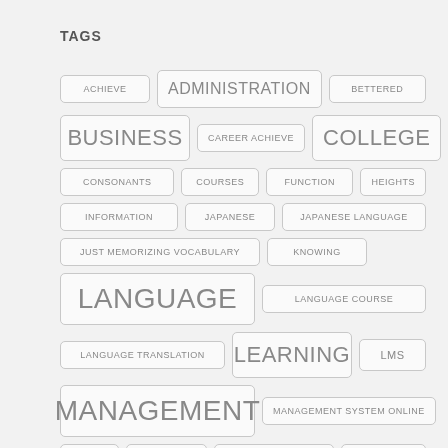TAGS
ACHIEVE
ADMINISTRATION
BETTERED
BUSINESS
CAREER ACHIEVE
COLLEGE
CONSONANTS
COURSES
FUNCTION
HEIGHTS
INFORMATION
JAPANESE
JAPANESE LANGUAGE
JUST MEMORIZING VOCABULARY
KNOWING
LANGUAGE
LANGUAGE COURSE
LANGUAGE TRANSLATION
LEARNING
LMS
MANAGEMENT
MANAGEMENT SYSTEM ONLINE
MBBS
MEDICAL
MEDICAL COLLEGE
MEMORIZING